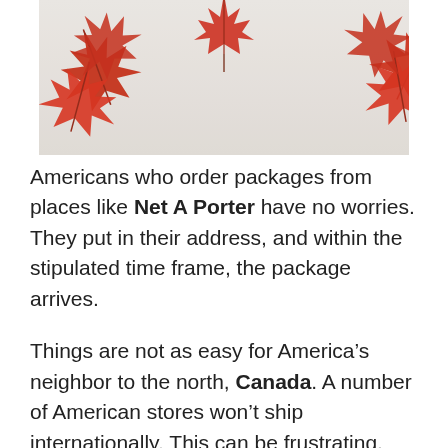[Figure (photo): Photo of red Canadian maple leaves arranged on a white background, with large leaves in the corners and a single maple leaf in the center top area.]
Americans who order packages from places like Net A Porter have no worries. They put in their address, and within the stipulated time frame, the package arrives.
Things are not as easy for America's neighbor to the north, Canada. A number of American stores won't ship internationally. This can be frustrating, especially if the stores are offering great deals.
If you have experienced this recently, do not get frustrated. There are options available that will allow you to ship items ordered from e-commerce stores like Net A Porter to your house or office